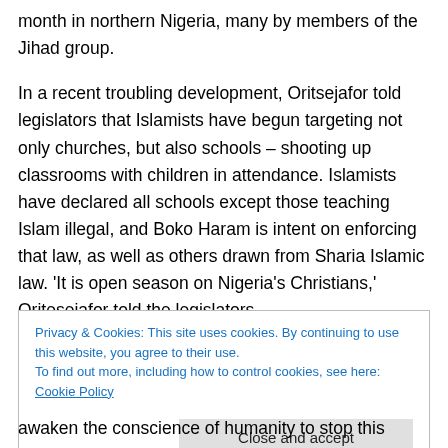month in northern Nigeria, many by members of the Jihad group.
In a recent troubling development, Oritsejafor told legislators that Islamists have begun targeting not only churches, but also schools – shooting up classrooms with children in attendance. Islamists have declared all schools except those teaching Islam illegal, and Boko Haram is intent on enforcing that law, as well as others drawn from Sharia Islamic law. ‘It is open season on Nigeria’s Christians,’ Oritesejafor told the legislators.
Privacy & Cookies: This site uses cookies. By continuing to use this website, you agree to their use.
To find out more, including how to control cookies, see here: Cookie Policy
awaken the conscience of humanity to stop this